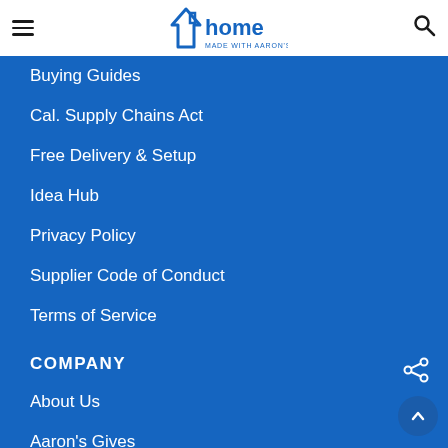home made with Aaron's
Buying Guides
Cal. Supply Chains Act
Free Delivery & Setup
Idea Hub
Privacy Policy
Supplier Code of Conduct
Terms of Service
COMPANY
About Us
Aaron's Gives
About Our Ads